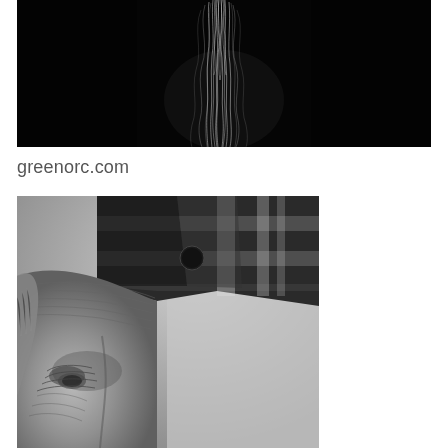[Figure (photo): Black and white photograph of wispy, tangled hair or fiber strands against a dark/black background, with light illuminating the strands from above]
greenorc.com
[Figure (photo): Black and white close-up portrait photograph of an elderly person wearing a dark plaid/checkered hat, showing heavily wrinkled forehead and face with gray hair visible]